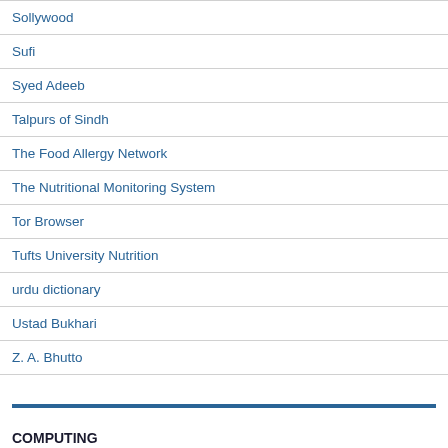Sollywood
Sufi
Syed Adeeb
Talpurs of Sindh
The Food Allergy Network
The Nutritional Monitoring System
Tor Browser
Tufts University Nutrition
urdu dictionary
Ustad Bukhari
Z. A. Bhutto
COMPUTING